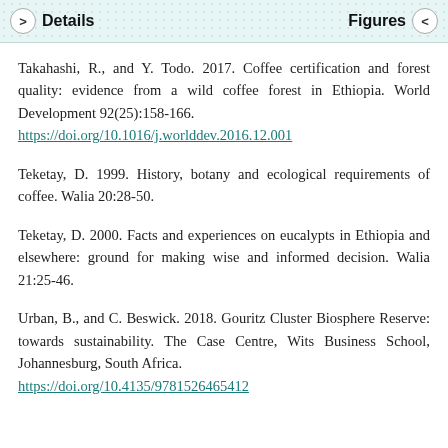Details | Figures
Takahashi, R., and Y. Todo. 2017. Coffee certification and forest quality: evidence from a wild coffee forest in Ethiopia. World Development 92(25):158-166.
https://doi.org/10.1016/j.worlddev.2016.12.001
Teketay, D. 1999. History, botany and ecological requirements of coffee. Walia 20:28-50.
Teketay, D. 2000. Facts and experiences on eucalypts in Ethiopia and elsewhere: ground for making wise and informed decision. Walia 21:25-46.
Urban, B., and C. Beswick. 2018. Gouritz Cluster Biosphere Reserve: towards sustainability. The Case Centre, Wits Business School, Johannesburg, South Africa.
https://doi.org/10.4135/9781526465412